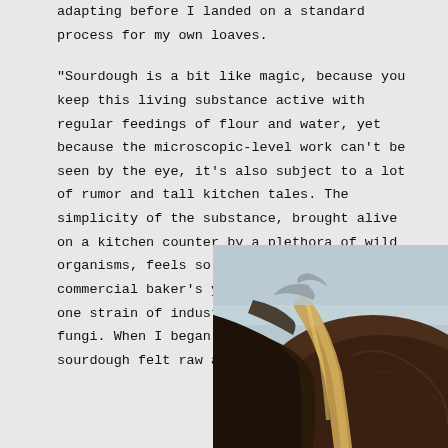adapting before I landed on a standard process for my own loaves.

"Sourdough is a bit like magic, because you keep this living substance active with regular feedings of flour and water, yet because the microscopic-level work can't be seen by the eye, it's also subject to a lot of rumor and tall kitchen tales. The simplicity of the substance, brought alive on a kitchen counter by a plethora of wild organisms, feels so unlike packages of commercial baker's yeast, which contain just one strain of industrially manufactured fungi. When I began baking many years ago, sourdough felt raw and elemental" (pg. 66).
[Figure (photo): Close-up photograph of a dark, heavily baked sourdough loaf with a dramatic scored crust, showing deep brown and black tones with a rustic, charred appearance against a blurred light background.]